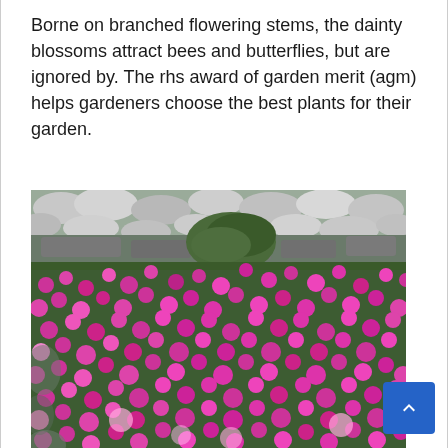Borne on branched flowering stems, the dainty blossoms attract bees and butterflies, but are ignored by. The rhs award of garden merit (agm) helps gardeners choose the best plants for their garden.
[Figure (photo): A dense ground-covering plant with abundant bright magenta/pink flowers on green stems, growing among grey and white rocks in a garden setting.]